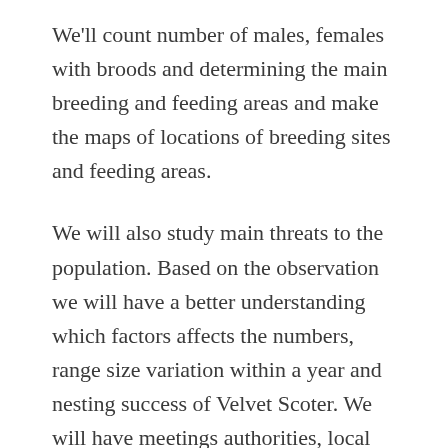We'll count number of males, females with broods and determining the main breeding and feeding areas and make the maps of locations of breeding sites and feeding areas.
We will also study main threats to the population. Based on the observation we will have a better understanding which factors affects the numbers, range size variation within a year and nesting success of Velvet Scoter. We will have meetings authorities, local community, fishermen and hunters to introduce the project and will have numerous educational talks about the value of the species in the area. We will produce informational